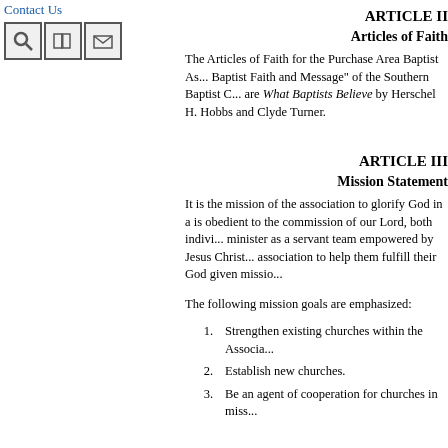Contact Us
ARTICLE II
Articles of Faith
The Articles of Faith for the Purchase Area Baptist As... Baptist Faith and Message" of the Southern Baptist C... are What Baptists Believe by Herschel H. Hobbs and ... Clyde Turner.
ARTICLE III
Mission Statement
It is the mission of the association to glorify God in a... is obedient to the commission of our Lord, both indivi... minister as a servant team empowered by Jesus Christ... association to help them fulfill their God given missio...
The following mission goals are emphasized:
1. Strengthen existing churches within the Associa...
2. Establish new churches.
3. Be an agent of cooperation for churches in miss...